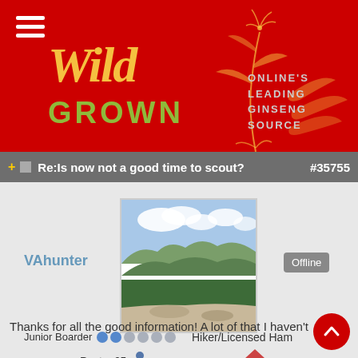[Figure (logo): Wild Grown logo on red background with ginseng plant illustration and tagline ONLINE'S LEADING GINSENG SOURCE]
Re:Is now not a good time to scout? #35755
[Figure (photo): Mountain landscape photo used as user avatar for VAhunter]
VAhunter
Offline
Junior Boarder
Hiker/Licensed Ham
Posts: 65
Thanks for all the good information! A lot of that I haven't